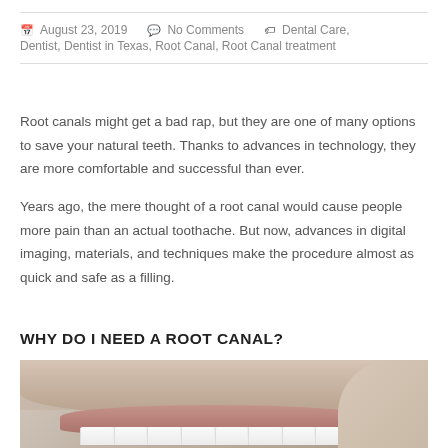August 23, 2019   No Comments   Dental Care, Dentist, Dentist in Texas, Root Canal, Root Canal treatment
Root canals might get a bad rap, but they are one of many options to save your natural teeth. Thanks to advances in technology, they are more comfortable and successful than ever.
Years ago, the mere thought of a root canal would cause people more pain than an actual toothache. But now, advances in digital imaging, materials, and techniques make the procedure almost as quick and safe as a filling.
WHY DO I NEED A ROOT CANAL?
[Figure (photo): Close-up photo of a person's mouth showing teeth, with a hand touching the cheek/jaw area, suggesting dental pain or examination.]